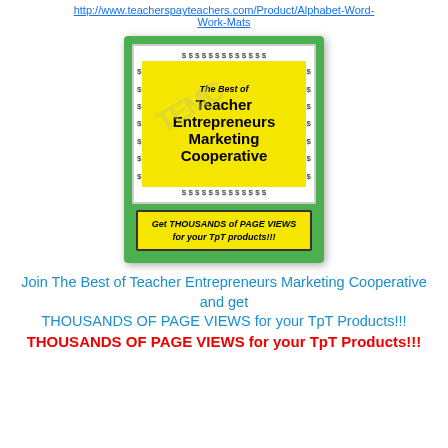http://www.teacherspayteachers.com/Product/Alphabet-Word-Work-Mats
[Figure (illustration): Book cover for 'The Best of Teacher Entrepreneurs Marketing Cooperative' with green border, dollar signs, yellow background, and a bottom banner reading 'Get THOUSANDS of PAGE VIEWS for your TpT products!!!']
Join The Best of Teacher Entrepreneurs Marketing Cooperative and get THOUSANDS OF PAGE VIEWS for your TpT Products!!!